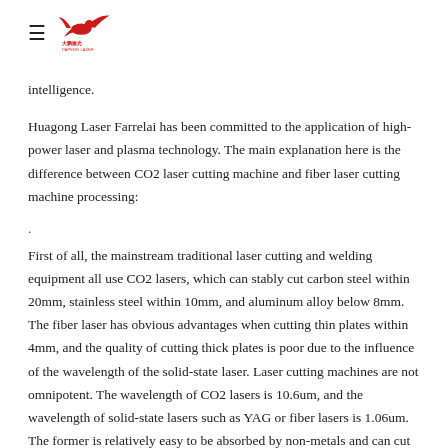≡ [Dapeng Laser logo]
intelligence.
Huagong Laser Farrelai has been committed to the application of high-power laser and plasma technology. The main explanation here is the difference between CO2 laser cutting machine and fiber laser cutting machine processing:
First of all, the mainstream traditional laser cutting and welding equipment all use CO2 lasers, which can stably cut carbon steel within 20mm, stainless steel within 10mm, and aluminum alloy below 8mm. The fiber laser has obvious advantages when cutting thin plates within 4mm, and the quality of cutting thick plates is poor due to the influence of the wavelength of the solid-state laser. Laser cutting machines are not omnipotent. The wavelength of CO2 lasers is 10.6um, and the wavelength of solid-state lasers such as YAG or fiber lasers is 1.06um. The former is relatively easy to be absorbed by non-metals and can cut wood, acrylic, PP, and plexiglass with high quality. Other non-metallic